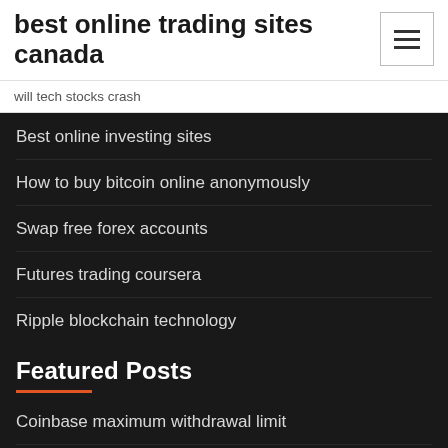best online trading sites canada
will tech stocks crash
Best online investing sites
How to buy bitcoin online anonymously
Swap free forex accounts
Futures trading coursera
Ripple blockchain technology
Featured Posts
Coinbase maximum withdrawal limit
Bitcoin japanese candlestick
Td ameritrade cost to buy bonds